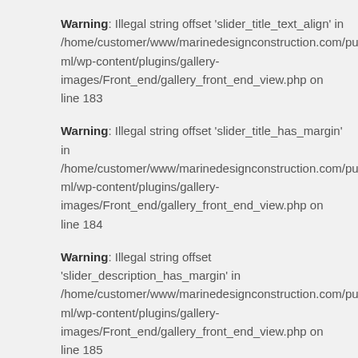Warning: Illegal string offset 'slider_title_text_align' in /home/customer/www/marinedesignconstruction.com/public_html/wp-content/plugins/gallery-images/Front_end/gallery_front_end_view.php on line 183
Warning: Illegal string offset 'slider_title_has_margin' in /home/customer/www/marinedesignconstruction.com/public_html/wp-content/plugins/gallery-images/Front_end/gallery_front_end_view.php on line 184
Warning: Illegal string offset 'slider_description_has_margin' in /home/customer/www/marinedesignconstruction.com/public_html/wp-content/plugins/gallery-images/Front_end/gallery_front_end_view.php on line 185